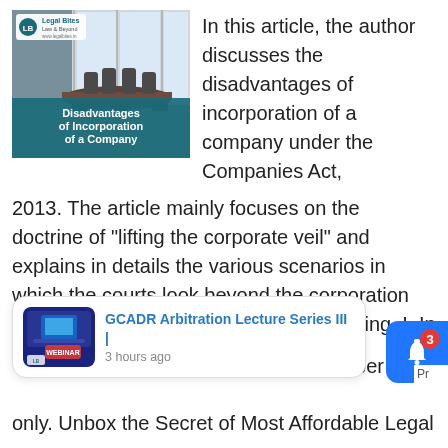[Figure (illustration): Article thumbnail image showing a conference room with chairs and large windows, with a teal banner overlay reading 'Disadvantages of Incorporation of a Company' and a Legal Bites logo in the top-left corner.]
In this article, the author discusses the disadvantages of incorporation of a company under the Companies Act, 2013. The article mainly focuses on the doctrine of "lifting the corporate veil" and explains in details the various scenarios in which the courts look beyond the corporation and the actual forces behind its functioning. I. Introduction A
[Figure (screenshot): Notification popup card showing a GCADR Arbitration Lecture Series III webinar thumbnail with text 'GCADR Arbitration Lecture Series III | 3 hours ago', along with a blue bell notification button with badge '3' on the right side.]
member only. Unbox the Secret of Most Affordable Legal